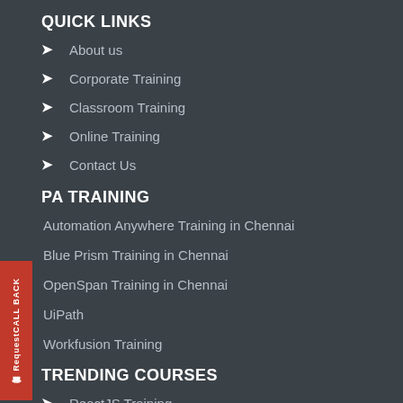QUICK LINKS
About us
Corporate Training
Classroom Training
Online Training
Contact Us
PA TRAINING
Automation Anywhere Training in Chennai
Blue Prism Training in Chennai
OpenSpan Training in Chennai
UiPath
Workfusion Training
TRENDING COURSES
ReactJS Training